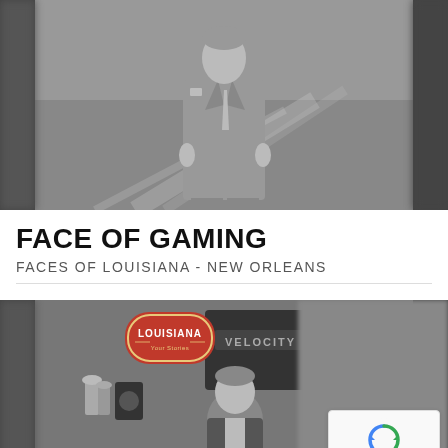[Figure (photo): Black and white photo of a man in a suit standing in what appears to be a casino or event venue, with blurred crowd in background.]
FACE OF GAMING
FACES OF LOUISIANA - NEW ORLEANS
[Figure (photo): Black and white photo showing a TV studio or broadcast set with a Louisiana show logo/sign, trophies, and a man seated. A reCAPTCHA widget is overlaid in the bottom right corner with Privacy and Terms links.]